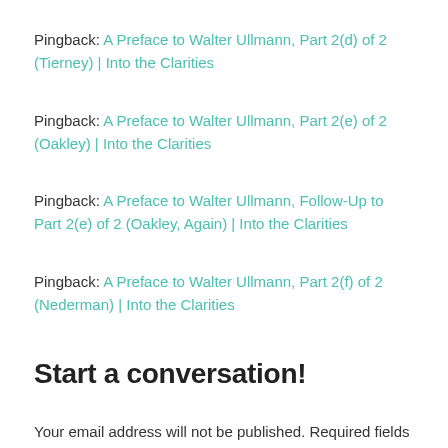Pingback: A Preface to Walter Ullmann, Part 2(d) of 2 (Tierney) | Into the Clarities
Pingback: A Preface to Walter Ullmann, Part 2(e) of 2 (Oakley) | Into the Clarities
Pingback: A Preface to Walter Ullmann, Follow-Up to Part 2(e) of 2 (Oakley, Again) | Into the Clarities
Pingback: A Preface to Walter Ullmann, Part 2(f) of 2 (Nederman) | Into the Clarities
Start a conversation!
Your email address will not be published. Required fields